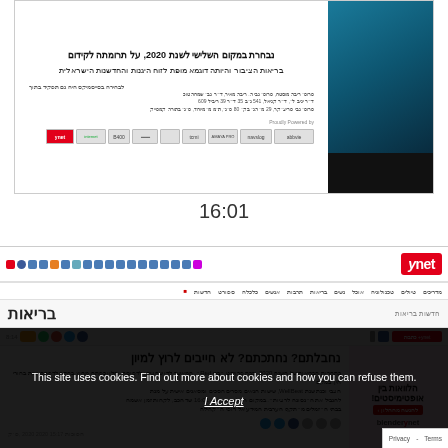[Figure (screenshot): Screenshot of an Israeli website (health/medical award page) with Hebrew text, sponsor logos, and a teal/dark decorative image on the right. Text mentions 2020 competition and health journalism.]
16:01
[Figure (screenshot): Screenshot of Ynet Israeli news website showing the 'בריאות' (Health) section. Article headline reads 'נחבלתם? נחתכתם? לא חייבים לרוץ למיון' (Hurt? Cut? You don't have to run to the ER). Hebrew article text and social share icons visible. Left sidebar has a pink advertisement for blender.net.]
This site uses cookies. Find out more about cookies and how you can refuse them.
I Accept